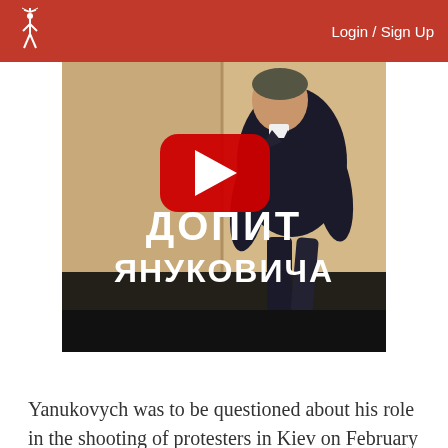Login / Sign Up
[Figure (screenshot): YouTube video thumbnail showing Viktor Yanukovych in a dark suit walking, with a red YouTube play button overlay and Cyrillic text 'ДОПИТ ЯНУКОВИЧА' (Interrogation of Yanukovych)]
Yanukovych was to be questioned about his role in the shooting of protesters in Kiev on February 20, 2014.